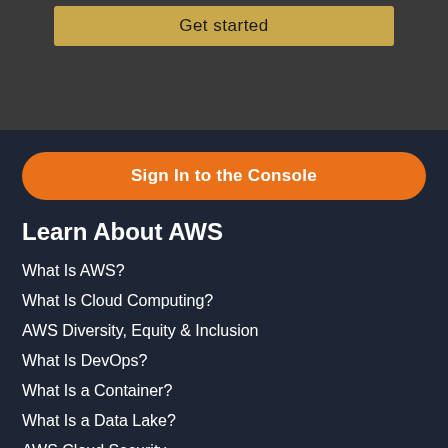[Figure (screenshot): AWS website screenshot showing a 'Get started' button on a dark grey background at top]
[Figure (screenshot): Orange 'Sign In to the Console' button on dark navy background]
Learn About AWS
What Is AWS?
What Is Cloud Computing?
AWS Diversity, Equity & Inclusion
What Is DevOps?
What Is a Container?
What Is a Data Lake?
AWS Cloud Security
What's New
Blogs